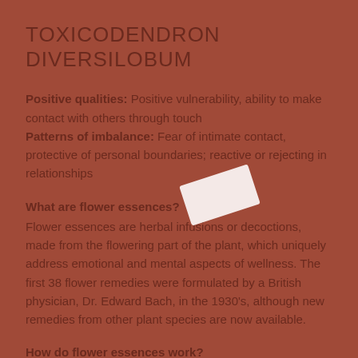TOXICODENDRON DIVERSILOBUM
Positive qualities: Positive vulnerability, ability to make contact with others through touch
Patterns of imbalance: Fear of intimate contact, protective of personal boundaries; reactive or rejecting in relationships
What are flower essences?
Flower essences are herbal infusions or decoctions, made from the flowering part of the plant, which uniquely address emotional and mental aspects of wellness. The first 38 flower remedies were formulated by a British physician, Dr. Edward Bach, in the 1930's, although new remedies from other plant species are now available.
How do flower essences work?
To understand how flower essences work requires a recognition that the human being is more than a